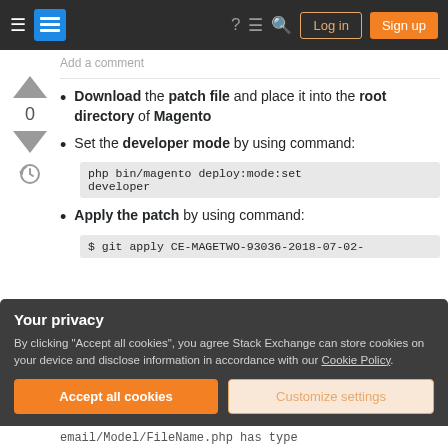Stack Exchange navigation bar with Log in and Sign up buttons
Add a comment
Download the patch file and place it into the root directory of Magento
Set the developer mode by using command:
php bin/magento deploy:mode:set developer
Apply the patch by using command:
$ git apply CE-MAGETWO-93036-2018-07-02-
Your privacy
By clicking "Accept all cookies", you agree Stack Exchange can store cookies on your device and disclose information in accordance with our Cookie Policy.
Accept all cookies
Customize settings
email/Model/FileName.php has type